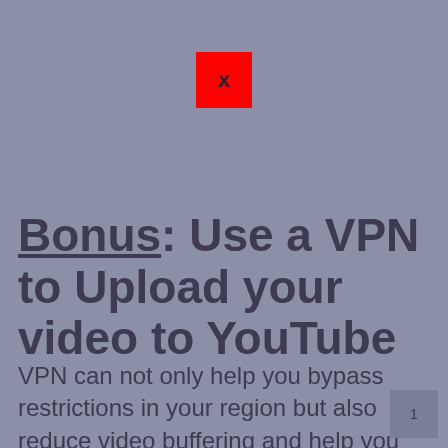[Figure (other): Red square with a bold X inside, resembling a broken image placeholder or close button]
Bonus: Use a VPN to Upload your video to YouTube
VPN can not only help you bypass restrictions in your region but also reduce video buffering and help you upload faster in speed.
1